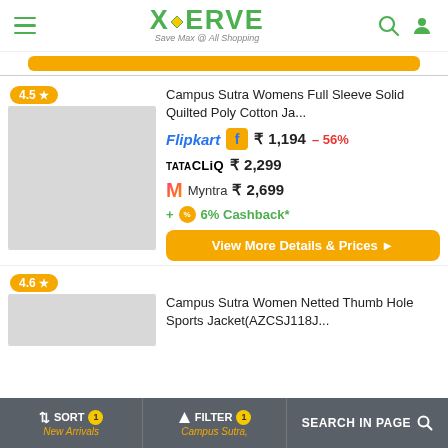XERVE Save Max @ All Shopping
Campus Sutra Womens Full Sleeve Solid Quilted Poly Cotton Ja...
Flipkart ₹ 1,194 - 56%
TATA CLiQ ₹ 2,299
Myntra ₹ 2,699
+ 6% Cashback*
View More Details & Prices ▶
4.5 ★
Campus Sutra Women Netted Thumb Hole Sports Jacket(AZCSJ118J...
4.6 ★
↕ SORT 1 New Arrivals | FILTER 1 Campus Sutra, | SEARCH IN PAGE 🔍